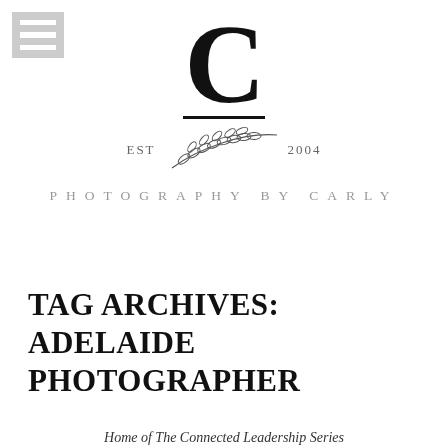[Figure (logo): Photography by Carly logo featuring a large decorative C letterform, a horizontal underline, a botanical branch illustration with EST 2004 text, and the words PHOTOGRAPHY BY CARLY in spaced capitals]
TAG ARCHIVES: ADELAIDE PHOTOGRAPHER
Home of The Connected Leadership Series